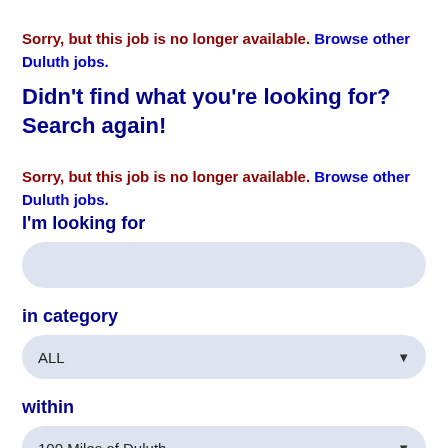Sorry, but this job is no longer available. Browse other Duluth jobs.
Didn't find what you're looking for? Search again!
Sorry, but this job is no longer available. Browse other Duluth jobs.
I'm looking for
[Figure (other): Text input search box with light blue rounded rectangle background]
in category
[Figure (other): Dropdown select box showing ALL with down arrow, light blue rounded rectangle background]
within
[Figure (other): Dropdown select box showing 100 Miles of Duluth with down arrow, light blue rounded rectangle background]